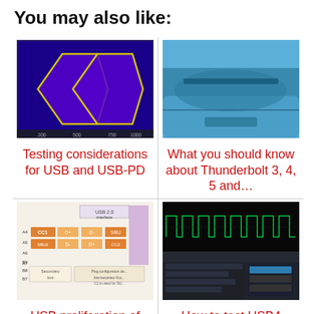You may also like:
[Figure (screenshot): Oscilloscope eye diagram showing two overlapping hexagonal eye openings in yellow on a blue/purple background]
Testing considerations for USB and USB-PD
[Figure (photo): Close-up photo of a blue electronic device or instrument, possibly a test instrument front panel]
What you should know about Thunderbolt 3, 4, 5 and...
[Figure (screenshot): USB connector pinout diagram showing USB 2.0 interface with colored pin labels (CC1, D+, D-, SBU, etc.) on orange and white background]
USB proliferation of capabilities
[Figure (screenshot): Split screenshot showing oscilloscope waveform (top, green signal on dark background) and software UI panel (bottom)]
How to test USB4 designs